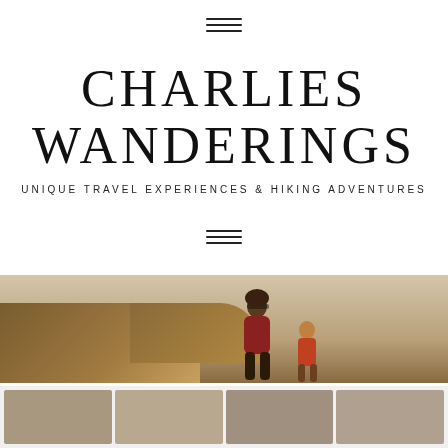[Figure (other): Hamburger menu icon (three horizontal lines) at top center]
CHARLIES WANDERINGS
UNIQUE TRAVEL EXPERIENCES & HIKING ADVENTURES
[Figure (other): Hamburger menu icon (three horizontal lines) at center]
[Figure (photo): Hero photo showing rocky cliffs and a person with sunglasses standing outdoors in a warm-toned landscape]
[Figure (photo): Row of thumbnail images at the bottom of the page showing travel/landscape photos]